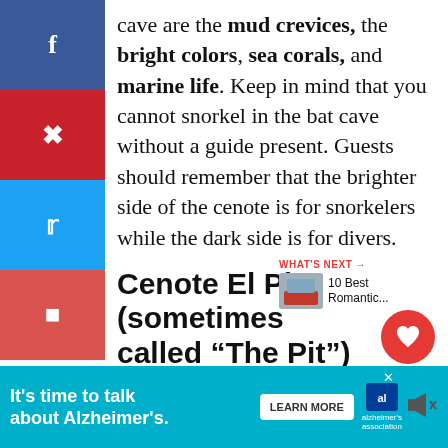cave are the mud crevices, the bright colors, sea corals, and marine life. Keep in mind that you cannot snorkel in the bat cave without a guide present. Guests should remember that the brighter side of the cenote is for snorkelers while the dark side is for divers.
Cenote El Pit (sometimes called “The Pit”)
Entrance Fee: $20 USD for divers
[Figure (other): Advertisement banner: It's time to talk about Alzheimer's. With Learn More button and Alzheimer's Association logo.]